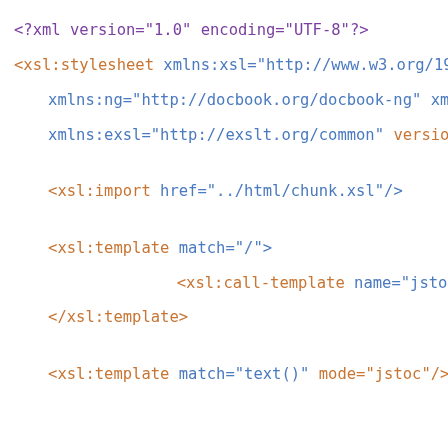<?xml version="1.0" encoding="UTF-8"?>
<xsl:stylesheet xmlns:xsl="http://www.w3.org/1999/XSL/Transform
xmlns:ng="http://docbook.org/docbook-ng" xmlns:db="http://doc
xmlns:exsl="http://exslt.org/common" version="1.0" exclude-rest
<xsl:import href="../html/chunk.xsl"/>
<xsl:template match="/">
<xsl:call-template name="jstoc"/>
</xsl:template>
<xsl:template match="text()" mode="jstoc"/>